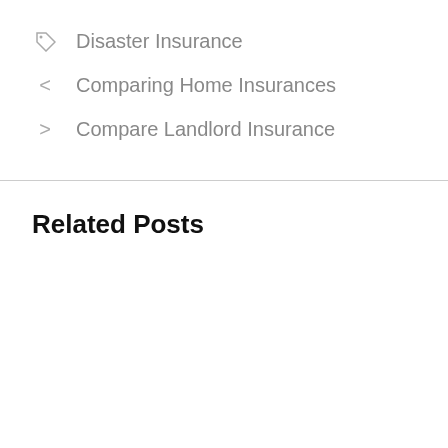Disaster Insurance
Comparing Home Insurances
Compare Landlord Insurance
Related Posts